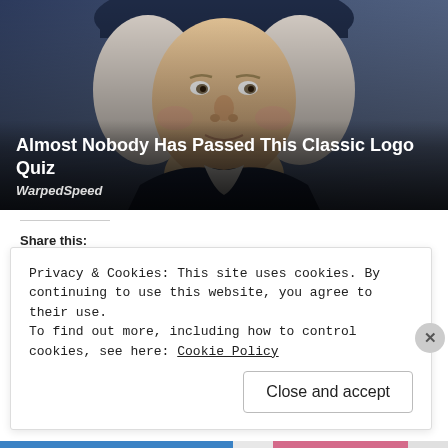[Figure (illustration): Hero image of a colonial-era styled man with white wig and dark hat, serving as a quiz thumbnail. Overlaid with title text.]
Almost Nobody Has Passed This Classic Logo Quiz
WarpedSpeed
Share this:
Twitter
Facebook
Loading...
Privacy & Cookies: This site uses cookies. By continuing to use this website, you agree to their use.
To find out more, including how to control cookies, see here: Cookie Policy
Close and accept